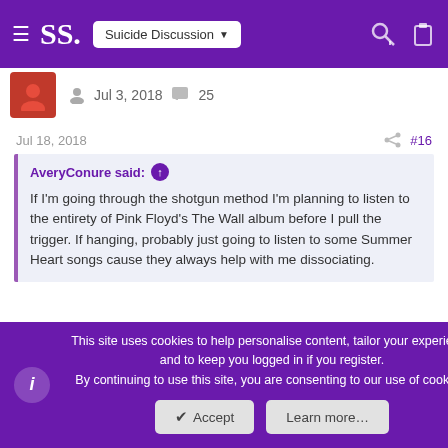SS. — Suicide Discussion
Jul 3, 2018  25
Jul 18, 2018  #16
AveryConure said: ↑

If I'm going through the shotgun method I'm planning to listen to the entirety of Pink Floyd's The Wall album before I pull the trigger. If hanging, probably just going to listen to some Summer Heart songs cause they always help with me dissociating.
If you plan on doing the shotgun method, which part of the brain will you be aiming at?
This site uses cookies to help personalise content, tailor your experience and to keep you logged in if you register.
By continuing to use this site, you are consenting to our use of cookies.
Accept  Learn more…